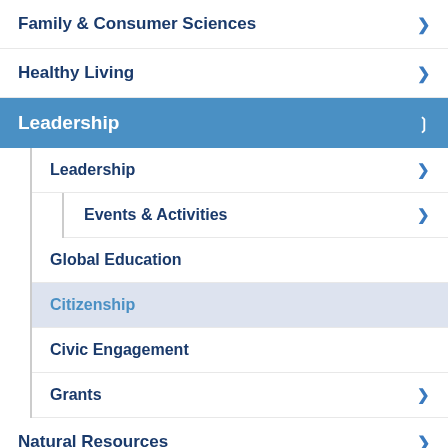Family & Consumer Sciences
Healthy Living
Leadership (active/expanded)
Leadership (sub)
Events & Activities
Global Education
Citizenship
Civic Engagement
Grants
Natural Resources